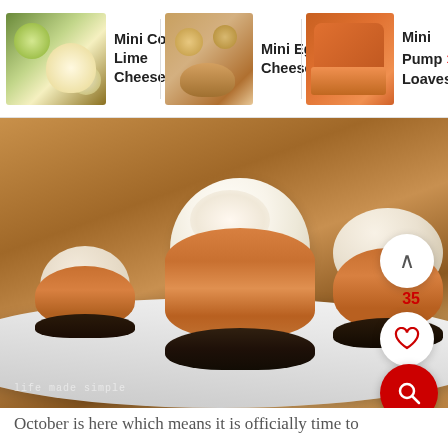[Figure (screenshot): Navigation bar showing three mini recipe thumbnails: Mini Coconut Lime Cheesecakes, Mini Eggnog Cheesecakes, and Mini Pumpkin Loaves with a right arrow indicator]
[Figure (photo): Close-up photo of mini pumpkin cheesecakes with dark Oreo cookie crusts topped with large swirled whipped cream, arranged on a white rectangular plate on a wooden surface. UI overlay shows up-arrow button, heart button with count 35, and red search button. Watermark reads 'life made simple' in bottom left.]
October is here which means it is officially time to